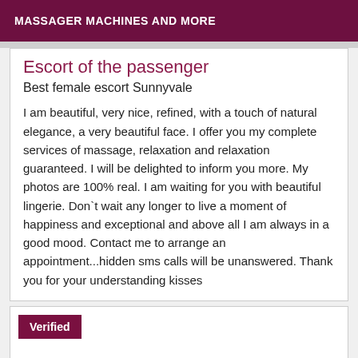MASSAGER MACHINES AND MORE
Escort of the passenger
Best female escort Sunnyvale
I am beautiful, very nice, refined, with a touch of natural elegance, a very beautiful face. I offer you my complete services of massage, relaxation and relaxation guaranteed. I will be delighted to inform you more. My photos are 100% real. I am waiting for you with beautiful lingerie. Don`t wait any longer to live a moment of happiness and exceptional and above all I am always in a good mood. Contact me to arrange an appointment...hidden sms calls will be unanswered. Thank you for your understanding kisses
Verified